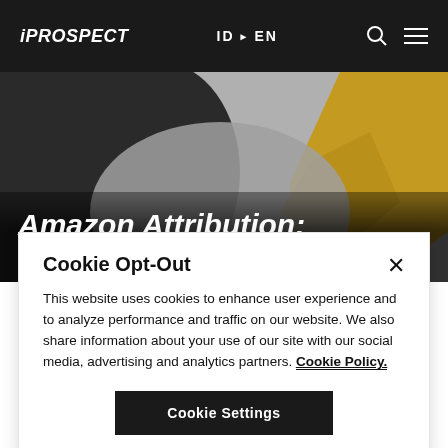iPROSPECT | ID EN
[Figure (illustration): Abstract hero image with dark, grey, and gold/yellow geometric shapes forming a decorative background behind the article title]
Amazon Attribution: Will it Answer Your
Cookie Opt-Out
This website uses cookies to enhance user experience and to analyze performance and traffic on our website. We also share information about your use of our site with our social media, advertising and analytics partners. Cookie Policy.
Cookie Settings